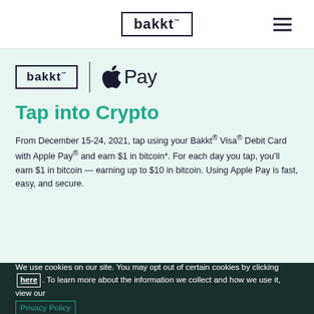[Figure (logo): Bakkt logo in header — word 'bakkt' inside a rectangle border with trademark symbol]
[Figure (logo): Hamburger menu icon (three horizontal lines) in top right corner]
[Figure (logo): Bakkt logo and Apple Pay logo side by side with vertical divider line]
Tap into Crypto
From December 15-24, 2021, tap using your Bakkt® Visa® Debit Card with Apple Pay® and earn $1 in bitcoin*. For each day you tap, you'll earn $1 in bitcoin — earning up to $10 in bitcoin. Using Apple Pay is fast, easy, and secure.
We use cookies on our site. You may opt out of certain cookies by clicking here. To learn more about the information we collect and how we use it, view our Privacy Policy